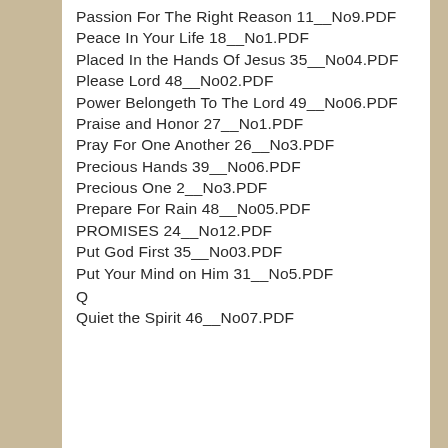Passion For The Right Reason 11__No9.PDF
Peace In Your Life 18__No1.PDF
Placed In the Hands Of Jesus 35__No04.PDF
Please Lord 48__No02.PDF
Power Belongeth To The Lord 49__No06.PDF
Praise and Honor 27__No1.PDF
Pray For One Another 26__No3.PDF
Precious Hands 39__No06.PDF
Precious One 2__No3.PDF
Prepare For Rain 48__No05.PDF
PROMISES 24__No12.PDF
Put God First 35__No03.PDF
Put Your Mind on Him 31__No5.PDF
Q
Quiet the Spirit 46__No07.PDF